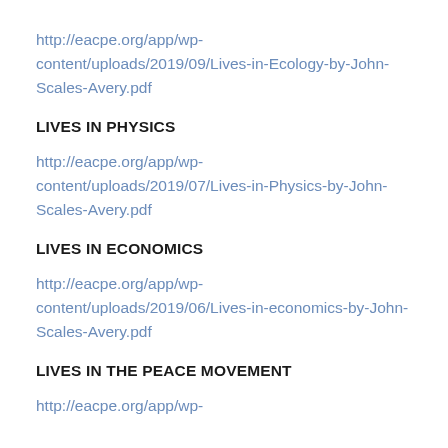http://eacpe.org/app/wp-content/uploads/2019/09/Lives-in-Ecology-by-John-Scales-Avery.pdf
LIVES IN PHYSICS
http://eacpe.org/app/wp-content/uploads/2019/07/Lives-in-Physics-by-John-Scales-Avery.pdf
LIVES IN ECONOMICS
http://eacpe.org/app/wp-content/uploads/2019/06/Lives-in-economics-by-John-Scales-Avery.pdf
LIVES IN THE PEACE MOVEMENT
http://eacpe.org/app/wp-